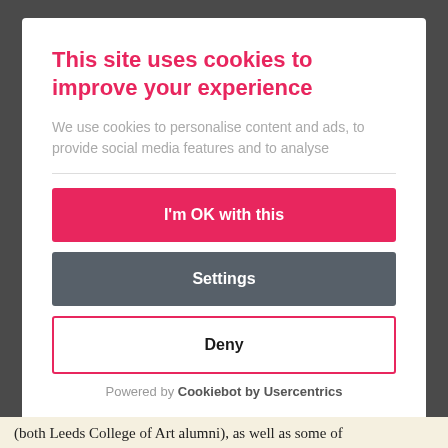This site uses cookies to improve your experience
We use cookies to personalise content and ads, to provide social media features and to analyse
I'm OK with this
Settings
Deny
Powered by Cookiebot by Usercentrics
(both Leeds College of Art alumni), as well as some of